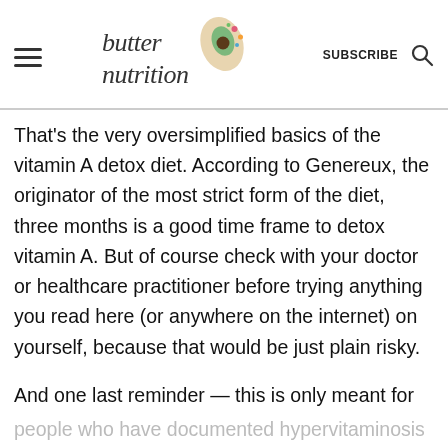butter nutrition | SUBSCRIBE
That's the very oversimplified basics of the vitamin A detox diet. According to Genereux, the originator of the most strict form of the diet, three months is a good time frame to detox vitamin A. But of course check with your doctor or healthcare practitioner before trying anything you read here (or anywhere on the internet) on yourself, because that would be just plain risky.

And one last reminder — this is only meant for
people who have documented hypervitaminosis A or have overdosed in the